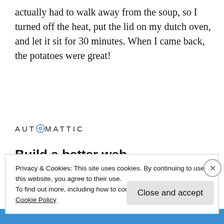actually had to walk away from the soup, so I turned off the heat, put the lid on my dutch oven, and let it sit for 30 minutes.  When I came back, the potatoes were great!
[Figure (logo): Automattic logo with circular compass/target icon replacing the letter O]
[Figure (infographic): Automattic job ad banner: 'Build a better web and a better world.' with an Apply button and a circular photo of a man thinking]
Privacy & Cookies: This site uses cookies. By continuing to use this website, you agree to their use.
To find out more, including how to control cookies, see here:
Cookie Policy
Close and accept